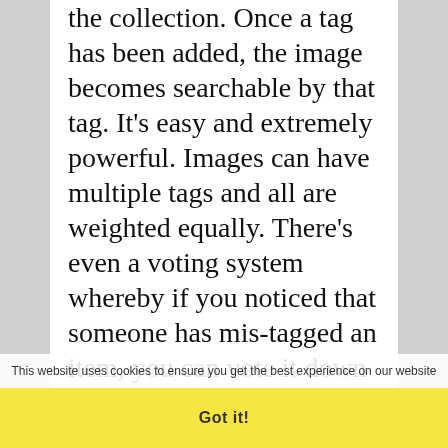the collection. Once a tag has been added, the image becomes searchable by that tag. It's easy and extremely powerful. Images can have multiple tags and all are weighted equally. There's even a voting system whereby if you noticed that someone has mis-tagged an item, you can vote it down and/or add your own, improved tag. Need convincing? Just visit the page and type in a simple keyword such as Kenwood or Icom and watch an unbelievable number of results come rolling in.
This website uses cookies to ensure you get the best experience on our website
Got it!